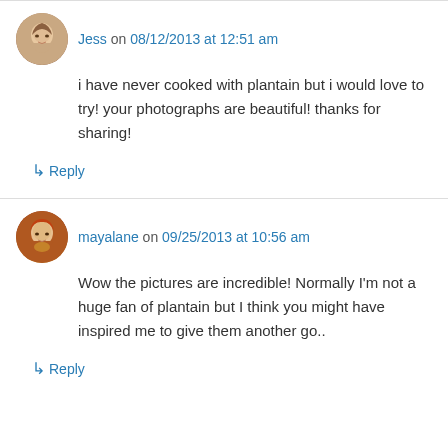Jess on 08/12/2013 at 12:51 am
i have never cooked with plantain but i would love to try! your photographs are beautiful! thanks for sharing!
↳ Reply
mayalane on 09/25/2013 at 10:56 am
Wow the pictures are incredible! Normally I'm not a huge fan of plantain but I think you might have inspired me to give them another go..
↳ Reply